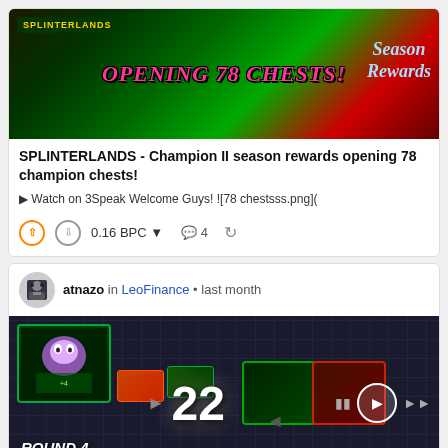[Figure (screenshot): Splinterlands thumbnail showing 'OPENING 78 CHESTS!' text with Season Rewards label]
SPLINTERLANDS - Champion II season rewards opening 78 champion chests!
▶ Watch on 3Speak Welcome Guys! ![78 chestsss.png](
0.16 BPC ▾  💬 4  ⎋
atnazo in LeoFinance • last month
[Figure (screenshot): Splinterlands game battle screenshot showing ROUND 4, 14/16, number 22 displayed, with game cards and play controls]